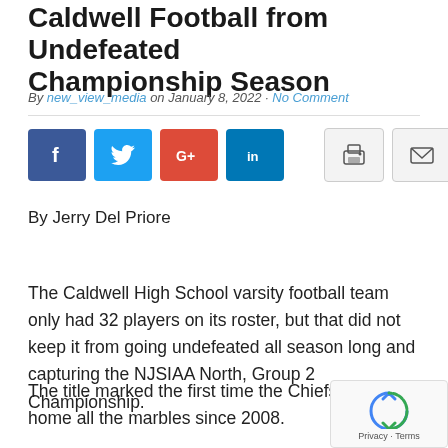Caldwell Football from Undefeated Championship Season
By new_view_media on January 8, 2022 · No Comment
[Figure (other): Social media sharing buttons: Facebook, Twitter, Google+, LinkedIn, Print, Email]
By Jerry Del Priore
The Caldwell High School varsity football team only had 32 players on its roster, but that did not keep it from going undefeated all season long and capturing the NJSIAA North, Group 2 Championship.
The title marked the first time the Chiefs took home all the marbles since 2008.
[Figure (other): reCAPTCHA privacy overlay with recycling-arrow logo and Privacy · Terms links]